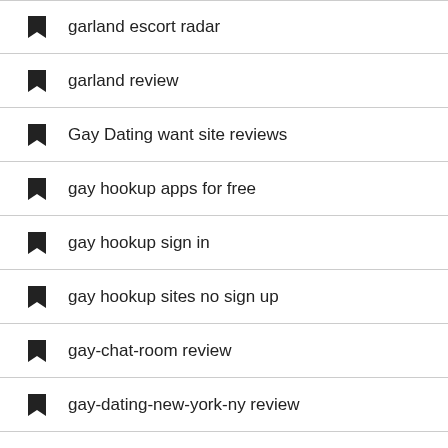garland escort radar
garland review
Gay Dating want site reviews
gay hookup apps for free
gay hookup sign in
gay hookup sites no sign up
gay-chat-room review
gay-dating-new-york-ny review